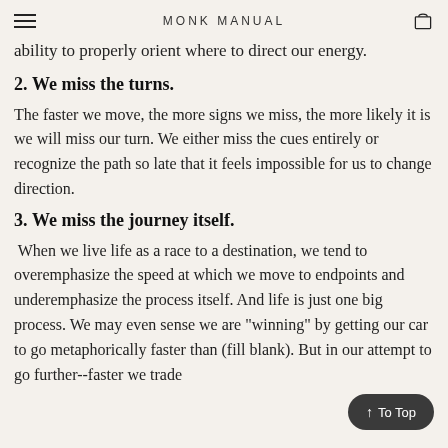MONK MANUAL
ability to properly orient where to direct our energy.
2. We miss the turns.
The faster we move, the more signs we miss, the more likely it is we will miss our turn. We either miss the cues entirely or recognize the path so late that it feels impossible for us to change direction.
3. We miss the journey itself.
When we live life as a race to a destination, we tend to overemphasize the speed at which we move to endpoints and underemphasize the process itself. And life is just one big process. We may even sense we are "winning" by getting our car to go metaphorically faster than (fill blank). But in our attempt to go further--faster we trade